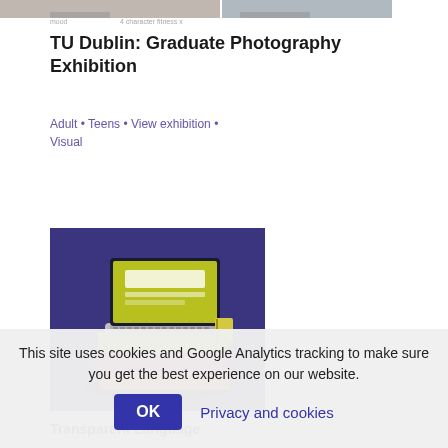[Figure (photo): Partial view of photo strip at top of page, partially cropped]
TU Dublin: Graduate Photography Exhibition
Adult • Teens • View exhibition • Visual
Add to my list
[Figure (illustration): Illustration of a laptop computer sitting on stacked language learning books (Fast French, Natural Norwegian) against a purple background]
Transparent Language
Adult • Educational • Kids • Teens
Add to my list
This site uses cookies and Google Analytics tracking to make sure you get the best experience on our website.
OK
Privacy and cookies